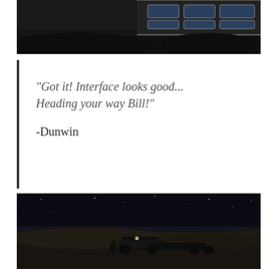[Figure (photo): Dark sci-fi scene showing what appears to be a spacecraft or vehicle panel with blue-tinted rectangular windows/panels against a dark background, viewed from above at an angle.]
“Got it! Interface looks good... Heading your way Bill!”

-Dunwin
[Figure (photo): Dark night scene on what appears to be a moon or alien planet surface with stars visible in the sky. A rover or ground vehicle with a figure/astronaut nearby is visible in the lower portion, with sandy/dusty terrain.]